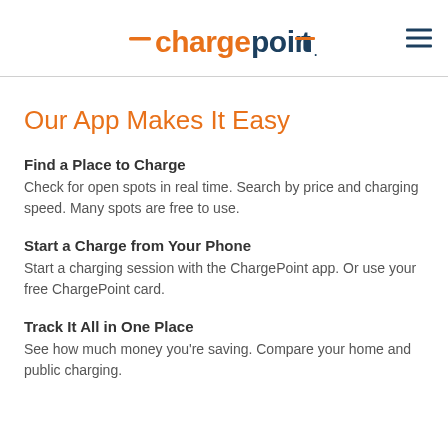ChargePoint
Our App Makes It Easy
Find a Place to Charge
Check for open spots in real time. Search by price and charging speed. Many spots are free to use.
Start a Charge from Your Phone
Start a charging session with the ChargePoint app. Or use your free ChargePoint card.
Track It All in One Place
See how much money you're saving. Compare your home and public charging.